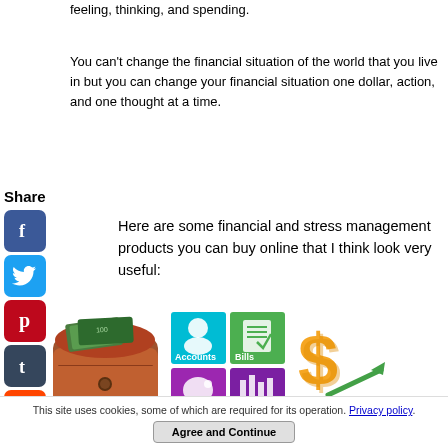feeling, thinking, and spending.
You can't change the financial situation of the world that you live in but you can change your financial situation one dollar, action, and one thought at a time.
Share
[Figure (infographic): Social media share icons: Facebook (blue), Twitter (blue), Pinterest (red), Tumblr (dark blue), Reddit (orange), WhatsApp (green)]
Here are some financial and stress management products you can buy online that I think look very useful:
[Figure (illustration): Brown leather wallet with cash, a finance app grid showing Accounts, Bills, Budget, Reports tiles, and a gold dollar sign with red and green arrows]
This site uses cookies, some of which are required for its operation. Privacy policy.
Agree and Continue